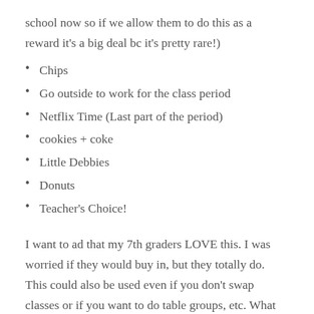school now so if we allow them to do this as a reward it’s a big deal bc it’s pretty rare!)
Chips
Go outside to work for the class period
Netflix Time (Last part of the period)
cookies + coke
Little Debbies
Donuts
Teacher’s Choice!
I want to ad that my 7th graders LOVE this. I was worried if they would buy in, but they totally do. This could also be used even if you don’t swap classes or if you want to do table groups, etc. What incentives do your students like!? I would love to know!
If you are looking for other classroom management...